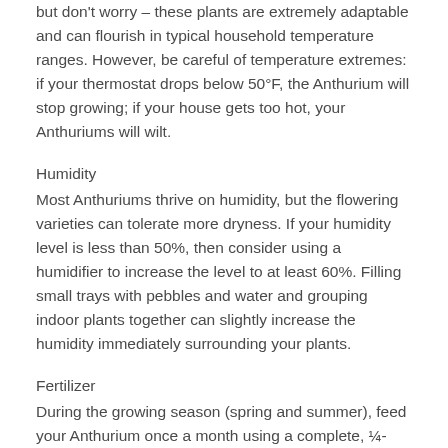but don't worry – these plants are extremely adaptable and can flourish in typical household temperature ranges. However, be careful of temperature extremes: if your thermostat drops below 50°F, the Anthurium will stop growing; if your house gets too hot, your Anthuriums will wilt.
Humidity
Most Anthuriums thrive on humidity, but the flowering varieties can tolerate more dryness. If your humidity level is less than 50%, then consider using a humidifier to increase the level to at least 60%. Filling small trays with pebbles and water and grouping indoor plants together can slightly increase the humidity immediately surrounding your plants.
Fertilizer
During the growing season (spring and summer), feed your Anthurium once a month using a complete, ¼-strength liquid fertilizer. A liquid fertilizer can also be used once a month